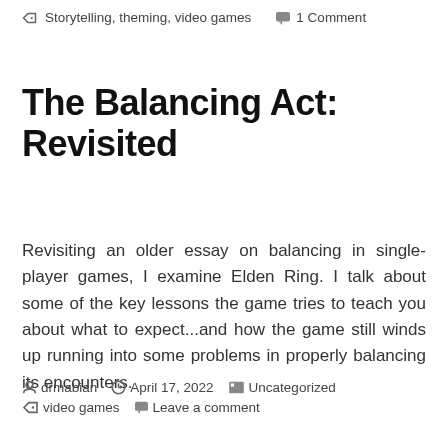Storytelling, theming, video games   1 Comment
The Balancing Act: Revisited
Revisiting an older essay on balancing in single-player games, I examine Elden Ring. I talk about some of the key lessons the game tries to teach you about what to expect...and how the game still winds up running into some problems in properly balancing its encounters.
drmabian   April 17, 2022   Uncategorized   video games   Leave a comment